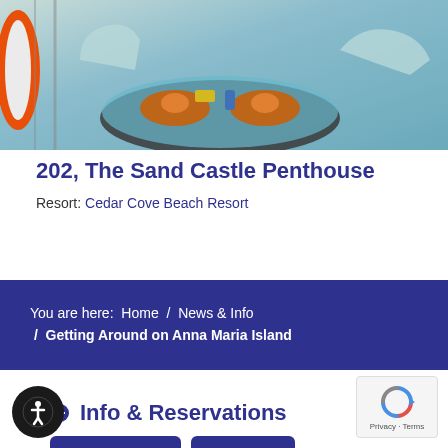[Figure (photo): Photo of a balcony/patio area with a round glass table, orange/red cushioned chairs, colorful items on the table, and a view of the outdoors. A life preserver ring (orange) is visible on the left side.]
202, The Sand Castle Penthouse
Resort: Cedar Cove Beach Resort
You are here:  Home  /  News & Info  /  Getting Around on Anna Maria Island
Info & Reservations
rvations Online   Contact Us